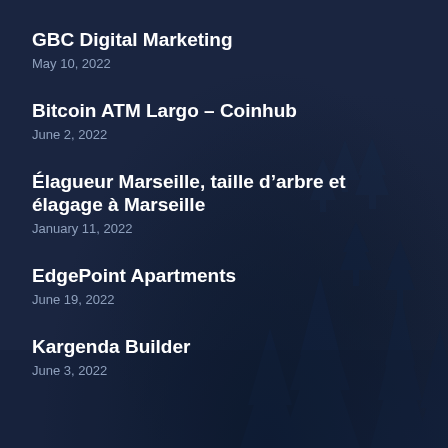GBC Digital Marketing
May 10, 2022
Bitcoin ATM Largo – Coinhub
June 2, 2022
Élagueur Marseille, taille d'arbre et élagage à Marseille
January 11, 2022
EdgePoint Apartments
June 19, 2022
Kargenda Builder
June 3, 2022